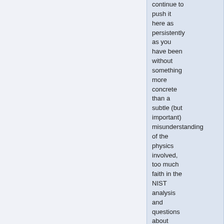continue to push it here as persistently as you have been without something more concrete than a subtle (but important) misunderstanding of the physics involved, too much faith in the NIST analysis and questions about aircraft